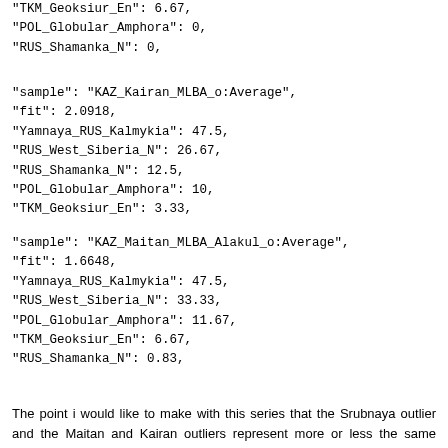"TKM_Geoksiur_En": 6.67,
"POL_Globular_Amphora": 0,
"RUS_Shamanka_N": 0,
"sample": "KAZ_Kairan_MLBA_o:Average",
"fit": 2.0918,
"Yamnaya_RUS_Kalmykia": 47.5,
"RUS_West_Siberia_N": 26.67,
"RUS_Shamanka_N": 12.5,
"POL_Globular_Amphora": 10,
"TKM_Geoksiur_En": 3.33,
"sample": "KAZ_Maitan_MLBA_Alakul_o:Average",
"fit": 1.6648,
"Yamnaya_RUS_Kalmykia": 47.5,
"RUS_West_Siberia_N": 33.33,
"POL_Globular_Amphora": 11.67,
"TKM_Geoksiur_En": 6.67,
"RUS_Shamanka_N": 0.83,
The point i would like to make with this series that the Srubnaya outlier and the Maitan and Kairan outliers represent more or less the same population. A population